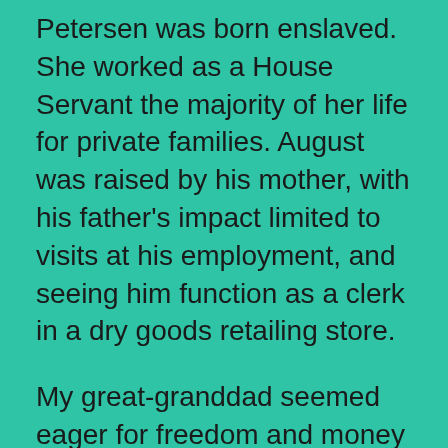Petersen was born enslaved. She worked as a House Servant the majority of her life for private families. August was raised by his mother, with his father's impact limited to visits at his employment, and seeing him function as a clerk in a dry goods retailing store.
My great-granddad seemed eager for freedom and money related achievements. He took in the calling of being a Realtor, by which he ended up ready to purchase town properties. Yes, he was at long last holding the deeds to a few properties. Amid this period he opened AC